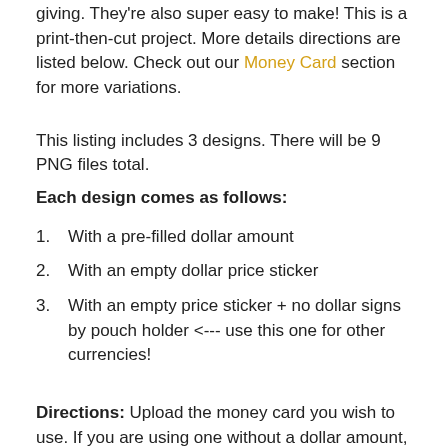giving. They're also super easy to make! This is a print-then-cut project. More details directions are listed below. Check out our Money Card section for more variations.
This listing includes 3 designs. There will be 9 PNG files total.
Each design comes as follows:
1. With a pre-filled dollar amount
2. With an empty dollar price sticker
3. With an empty price sticker + no dollar signs by pouch holder <--- use this one for other currencies!
Directions: Upload the money card you wish to use. If you are using one without a dollar amount, make sure to add that before printing. You can also use it this image with